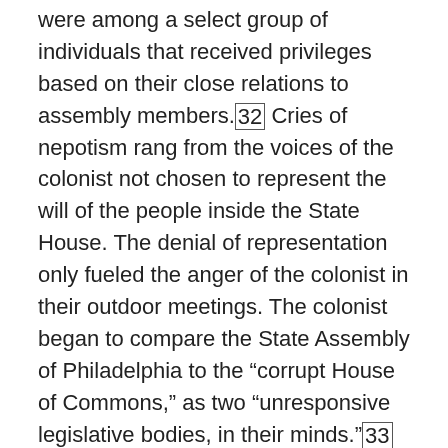were among a select group of individuals that received privileges based on their close relations to assembly members.[32] Cries of nepotism rang from the voices of the colonist not chosen to represent the will of the people inside the State House. The denial of representation only fueled the anger of the colonist in their outdoor meetings. The colonist began to compare the State Assembly of Philadelphia to the “corrupt House of Commons,” as two “unresponsive legislative bodies, in their minds.”[33]  The origins of revolution were growing in the streets of Philadelphia as the colonist began comparing local governments to the disdain they had for English rule.
The streets of Philadelphia filled with protest not only from the cities inhabitants, but also from the colonists of the rural landscape. In 1775, Broadsides were published in Philadelphia asking for all Americans to unite in cause